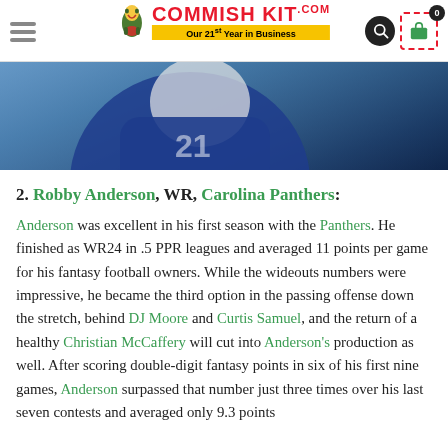Commish Kit — Our 21st Year in Business
[Figure (photo): Football player in blue uniform running with the ball, cropped at the top of the page]
2. Robby Anderson, WR, Carolina Panthers:
Anderson was excellent in his first season with the Panthers. He finished as WR24 in .5 PPR leagues and averaged 11 points per game for his fantasy football owners. While the wideouts numbers were impressive, he became the third option in the passing offense down the stretch, behind DJ Moore and Curtis Samuel, and the return of a healthy Christian McCaffery will cut into Anderson's production as well. After scoring double-digit fantasy points in six of his first nine games, Anderson surpassed that number just three times over his last seven contests and averaged only 9.3 points